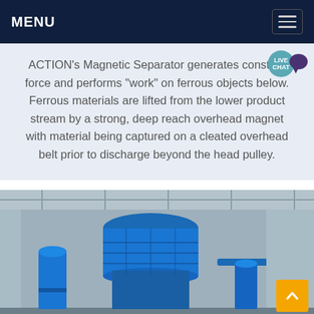MENU
ACTION's Magnetic Separator generates constant force and performs "work" on ferrous objects below. Ferrous materials are lifted from the lower product stream by a strong, deep reach overhead magnet with material being captured on a cleated overhead belt prior to discharge beyond the head pulley.
[Figure (photo): Industrial blue magnetic separator machine inside a factory building with steel roof structure visible in the background.]